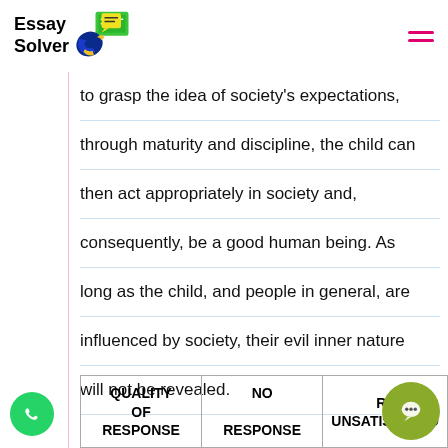Essay Solver
to grasp the idea of society's expectations, through maturity and discipline, the child can then act appropriately in society and, consequently, be a good human being. As long as the child, and people in general, are influenced by society, their evil inner nature will not be revealed.
| QUALITY OF RESPONSE | NO RESPONSE | POOR / UNSATISFACTORY |
| --- | --- | --- |